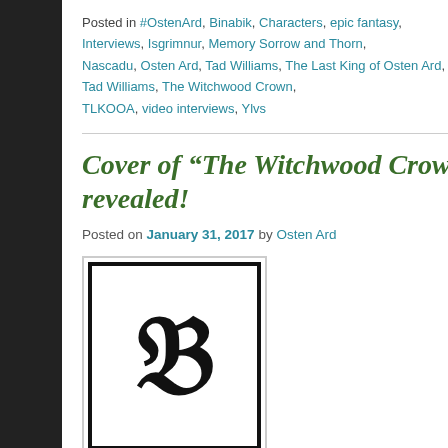Posted in #OstenArd, Binabik, Characters, epic fantasy, Interviews, Isgrimnur, Memory Sorrow and Thorn, Nascadu, Osten Ard, Tad Williams, The Last King of Osten Ard, The Witchwood Crown | Tagged Memory Sorrow and Thorn, Osten Ard, Tad Williams, The Witchwood Crown, TLKOOA, video interviews, Ylvs
Cover of “The Witchwood Crown” revealed!
Posted on January 31, 2017 by Osten Ard
[Figure (illustration): Black and white decorative letter T in Gothic/blackletter style, framed in a black border, inside a light grey outer border — used as a post thumbnail/avatar image.]
he cover for bestselling speculative fiction author Tad